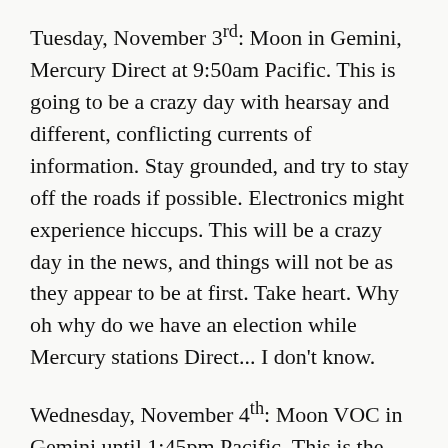Tuesday, November 3rd: Moon in Gemini, Mercury Direct at 9:50am Pacific. This is going to be a crazy day with hearsay and different, conflicting currents of information. Stay grounded, and try to stay off the roads if possible. Electronics might experience hiccups. This will be a crazy day in the news, and things will not be as they appear to be at first. Take heart. Why oh why do we have an election while Mercury stations Direct... I don't know.
Wednesday, November 4th: Moon VOC in Gemini until 1:45pm Pacific. This is the day to stay inside if possible. The Cancer Moon in the evening will bring emotions and sensitivity to the Mercury Direct instability. If there's going to be protesting over the election, it will likely start tonight.
Thursday, November 5th: Moon in Cancer is part of a big Water trine today. Moon in Cancer trines Sun in Scorpio, and they both trine Neptune in Pisces. It's a deliciously creative day and...